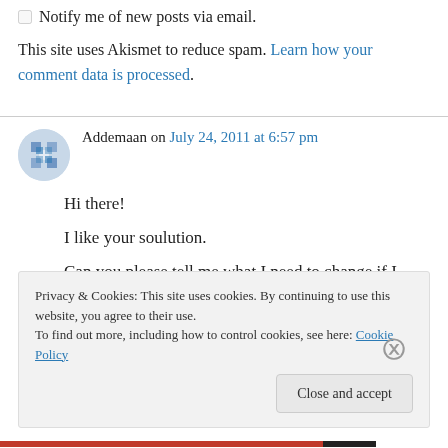Notify me of new posts via email.
This site uses Akismet to reduce spam. Learn how your comment data is processed.
Addemaan on July 24, 2011 at 6:57 pm
Hi there!
I like your soulution.
Can you please tell me what I need to change if I want to fill “FinalString” with integers instead of
Privacy & Cookies: This site uses cookies. By continuing to use this website, you agree to their use.
To find out more, including how to control cookies, see here: Cookie Policy